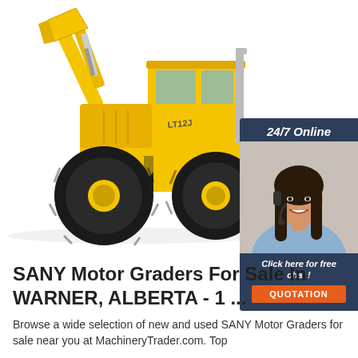[Figure (photo): Yellow SANY wheel loader (model LT12J) on white background, left-facing, with large black tyres and raised bucket arm]
[Figure (infographic): 24/7 Online chat widget: dark navy banner with '24/7 Online' text, photo of smiling woman with headset, 'Click here for free chat!' text, and orange QUOTATION button]
SANY Motor Graders For Sale In WARNER, ALBERTA - 1 ...
Browse a wide selection of new and used SANY Motor Graders for sale near you at MachineryTrader.com. Top